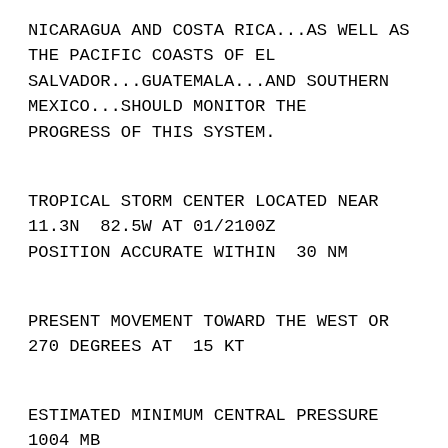NICARAGUA AND COSTA RICA...AS WELL AS THE PACIFIC COASTS OF EL SALVADOR...GUATEMALA...AND SOUTHERN MEXICO...SHOULD MONITOR THE PROGRESS OF THIS SYSTEM.
TROPICAL STORM CENTER LOCATED NEAR 11.3N  82.5W AT 01/2100Z
POSITION ACCURATE WITHIN  30 NM
PRESENT MOVEMENT TOWARD THE WEST OR 270 DEGREES AT  15 KT
ESTIMATED MINIMUM CENTRAL PRESSURE 1004 MB
MAX SUSTAINED WINDS  40 KT WITH GUSTS